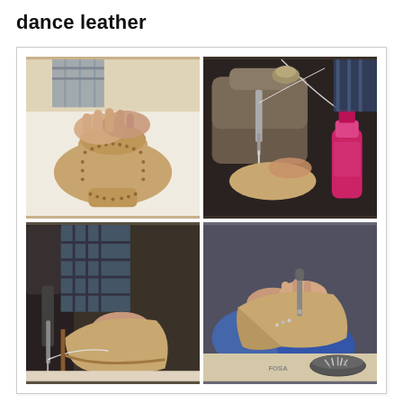dance leather
[Figure (photo): Four-panel photo grid showing the handcrafted leather shoe-making process: (top-left) hands placing a leather sole with punched dots on a white surface; (top-right) a sewing machine stitching leather with a red/pink bottle of dye nearby; (bottom-left) a leather shoe being sewn on an industrial sewing machine; (bottom-right) hands using a tool to work on a leather dance shoe, with a bowl of metal tacks on the workbench.]